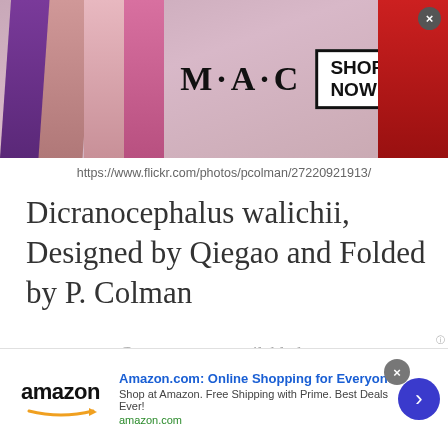[Figure (other): MAC cosmetics advertisement banner showing lipsticks and 'SHOP NOW' box with MAC logo]
https://www.flickr.com/photos/pcolman/27220921913/
Dicranocephalus walichii, Designed by Qiegao and Folded by P. Colman
Crease pattern available here
This next image is a great collection of five different origami snails each one designed by a different designer. Each one of these is folded from one sheet of
[Figure (other): Amazon.com online shopping advertisement banner with amazon logo and 'Online Shopping for Everyone' headline]